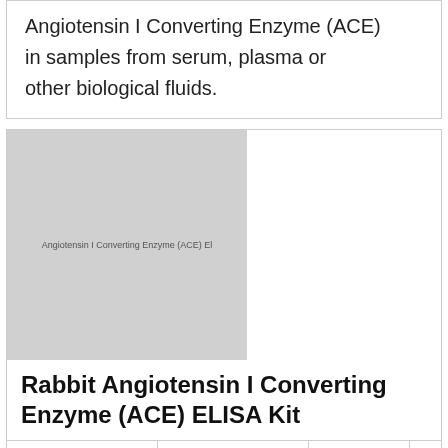Angiotensin I Converting Enzyme (ACE) in samples from serum, plasma or other biological fluids.
[Figure (photo): Thumbnail image of Rabbit Angiotensin I Converting Enzyme (ACE) ELISA Kit product with small text label on grey background]
Rabbit Angiotensin I Converting Enzyme (ACE) ELISA Kit
| Catalog | Brand | Size | Price |
| --- | --- | --- | --- |
| DLR-ACE-Rb-96T | DL Develop | 96T | EUR 661 |